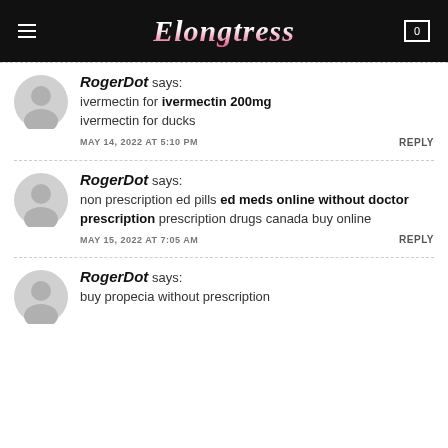Elongtress
RogerDot says: ivermectin for ivermectin 200mg ivermectin for ducks
MAY 14, 2022 AT 5:10 PM   REPLY
RogerDot says: non prescription ed pills ed meds online without doctor prescription prescription drugs canada buy online
MAY 15, 2022 AT 7:05 AM   REPLY
RogerDot says: buy propecia without prescription